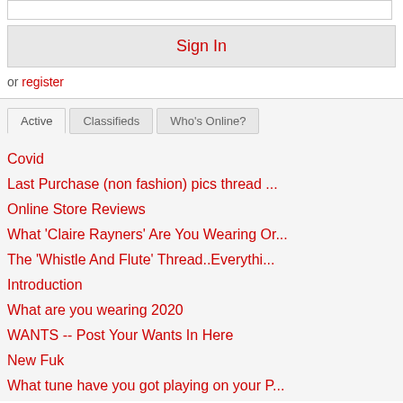[Figure (screenshot): Input field placeholder at top]
Sign In
or register
Active | Classifieds | Who's Online?
Covid
Last Purchase (non fashion) pics thread ...
Online Store Reviews
What 'Claire Rayners' Are You Wearing Or...
The 'Whistle And Flute' Thread..Everythi...
Introduction
What are you wearing 2020
WANTS -- Post Your Wants In Here
New Fuk
What tune have you got playing on your P...
Die Hippy Scum